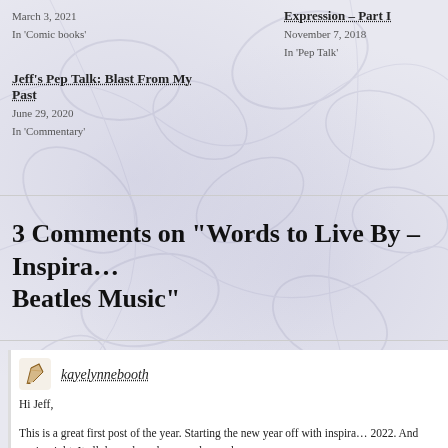March 3, 2021
In 'Comic books'
Expression – Part I
November 7, 2018
In 'Pep Talk'
Jeff's Pep Talk: Blast From My Past
June 29, 2020
In 'Commentary'
3 Comments on "Words to Live By – Inspira… Beatles Music"
kayelynnebooth
Hi Jeff,
This is a great first post of the year. Starting the new year off with inspira… 2022. And you're right. It all depends on how much you love what you do…